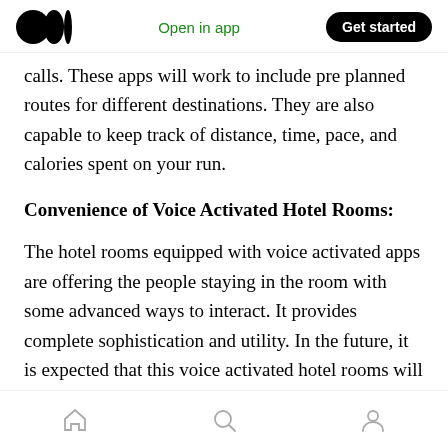Medium logo | Open in app | Get started
calls. These apps will work to include pre planned routes for different destinations. They are also capable to keep track of distance, time, pace, and calories spent on your run.
Convenience of Voice Activated Hotel Rooms:
The hotel rooms equipped with voice activated apps are offering the people staying in the room with some advanced ways to interact. It provides complete sophistication and utility. In the future, it is expected that this voice activated hotel rooms will be a common trend among people.
Home | Search | Profile